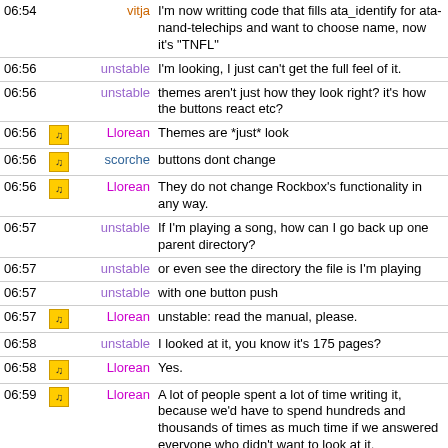| Time | Icon | Name | Message |
| --- | --- | --- | --- |
| 06:54 |  | vitja | I'm now writting code that fills ata_identify for ata-nand-telechips and want to choose name, now it's "TNFL" |
| 06:56 |  | unstable | I'm looking, I just can't get the full feel of it. |
| 06:56 |  | unstable | themes aren't just how they look right? it's how the buttons react etc? |
| 06:56 | [icon] | Llorean | Themes are *just* look |
| 06:56 | [icon] | scorche | buttons dont change |
| 06:56 | [icon] | Llorean | They do not change Rockbox's functionality in any way. |
| 06:57 |  | unstable | If I'm playing a song, how can I go back up one parent directory? |
| 06:57 |  | unstable | or even see the directory the file is I'm playing |
| 06:57 |  | unstable | with one button push |
| 06:57 | [icon] | Llorean | unstable: read the manual, please. |
| 06:58 |  | unstable | I looked at it, you know it's 175 pages? |
| 06:58 | [icon] | Llorean | Yes. |
| 06:59 | [icon] | Llorean | A lot of people spent a lot of time writing it, because we'd have to spend hundreds and thousands of times as much time if we answered everyone who didn't want to look at it. |
| 06:59 | [icon] | Llorean | So, if you have any respect for the time people put in to make Rockbox, spend a very tiny fraction of that time yourself and do some reading first. |
| 06:59 |  | unstable | What if that is my last question for the night, then I go to sleep? |